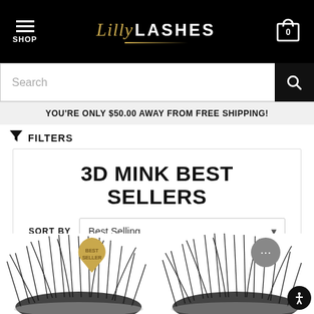[Figure (screenshot): Lilly Lashes website header with hamburger menu (SHOP label), Lilly Lashes logo in gold and white, and cart icon with 0 badge on black background.]
[Figure (screenshot): Search bar with placeholder text 'Search' and black search button with magnifying glass icon.]
YOU'RE ONLY $50.00 AWAY FROM FREE SHIPPING!
FILTERS
3D MINK BEST SELLERS
SORT BY  Best Selling
[Figure (photo): Two mink eyelash product images side by side. Left lash has a gold heart-shaped 'BEST SELLER' badge. Right image shows a chat bubble icon and accessibility icon at bottom right.]